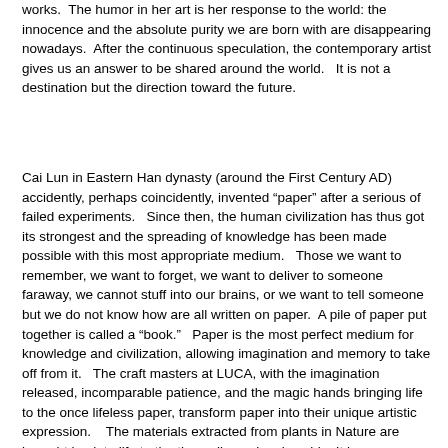works.  The humor in her art is her response to the world: the innocence and the absolute purity we are born with are disappearing nowadays.  After the continuous speculation, the contemporary artist gives us an answer to be shared around the world.   It is not a destination but the direction toward the future.
Cai Lun in Eastern Han dynasty (around the First Century AD) accidently, perhaps coincidently, invented “paper” after a serious of failed experiments.   Since then, the human civilization has thus got its strongest and the spreading of knowledge has been made possible with this most appropriate medium.   Those we want to remember, we want to forget, we want to deliver to someone faraway, we cannot stuff into our brains, or we want to tell someone but we do not know how are all written on paper.  A pile of paper put together is called a “book.”   Paper is the most perfect medium for knowledge and civilization, allowing imagination and memory to take off from it.   The craft masters at LUCA, with the imagination released, incomparable patience, and the magic hands bringing life to the once lifeless paper, transform paper into their unique artistic expression.    The materials extracted from plants in Nature are brought back to life to the three-dimensional world.   It is warm, humorous, and has certain mirror